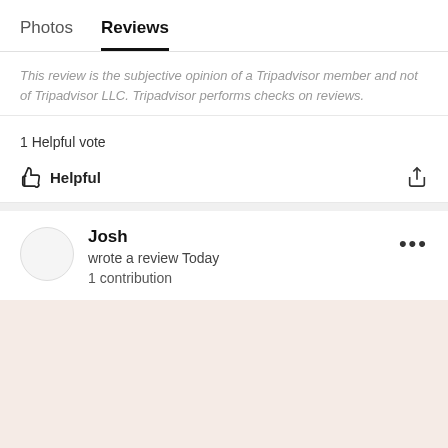Photos  Reviews
This review is the subjective opinion of a Tripadvisor member and not of Tripadvisor LLC. Tripadvisor performs checks on reviews.
1 Helpful vote
Helpful
Josh
wrote a review Today
1 contribution
[Figure (other): Pinkish-beige review background area (empty star rating or review content area)]
[Figure (other): Four green filled circles (Tripadvisor rating dots)]